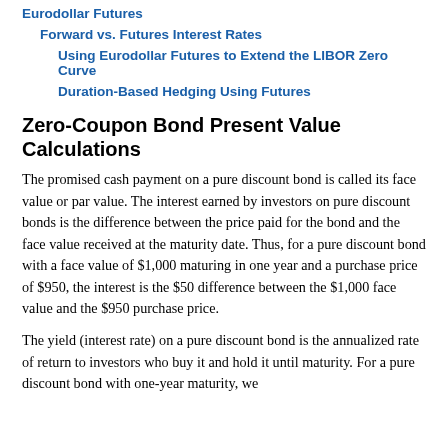Eurodollar Futures
Forward vs. Futures Interest Rates
Using Eurodollar Futures to Extend the LIBOR Zero Curve
Duration-Based Hedging Using Futures
Zero-Coupon Bond Present Value Calculations
The promised cash payment on a pure discount bond is called its face value or par value. The interest earned by investors on pure discount bonds is the difference between the price paid for the bond and the face value received at the maturity date. Thus, for a pure discount bond with a face value of $1,000 maturing in one year and a purchase price of $950, the interest is the $50 difference between the $1,000 face value and the $950 purchase price.
The yield (interest rate) on a pure discount bond is the annualized rate of return to investors who buy it and hold it until maturity. For a pure discount bond with one-year maturity, we